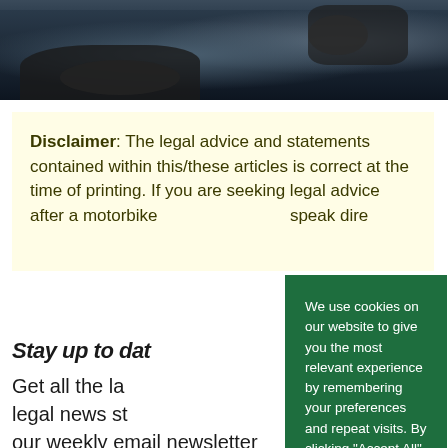[Figure (photo): Dark photograph showing motorcycle parts/handlebars from close up angle]
Disclaimer: The legal advice and statements contained within this/these articles is correct at the time of printing. If you are seeking legal advice after a motorbike [accident, please] speak dire[ctly to a solicitor.]
Stay up to dat[e]
Get all the la[test] legal news st[raight to] our weekly email newsletter below
We use cookies on our website to give you the most relevant experience by remembering your preferences and repeat visits. By clicking "Accept All", you consent to the use of cookies. Privacy Policy
Accept All